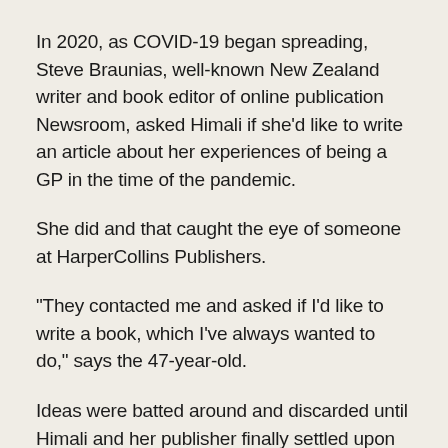In 2020, as COVID-19 began spreading, Steve Braunias, well-known New Zealand writer and book editor of online publication Newsroom, asked Himali if she'd like to write an article about her experiences of being a GP in the time of the pandemic.
She did and that caught the eye of someone at HarperCollins Publishers.
"They contacted me and asked if I'd like to write a book, which I've always wanted to do," says the 47-year-old.
Ideas were batted around and discarded until Himali and her publisher finally settled upon the concept that turned into The Unexpected Patient.